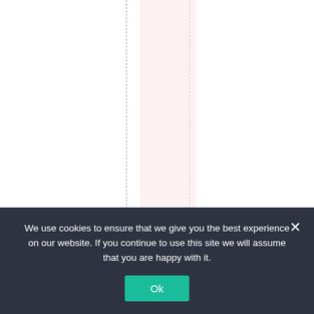[Figure (other): A document page layout with dashed vertical guide lines, a pink highlighted column, and rotated red text reading 'Jane Lubchenco, (pdf' arranged vertically along the right portion of the page.]
We use cookies to ensure that we give you the best experience on our website. If you continue to use this site we will assume that you are happy with it.